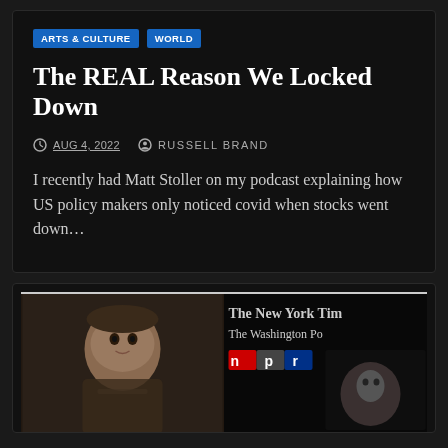ARTS & CULTURE | WORLD
The REAL Reason We Locked Down
AUG 4, 2022  RUSSELL BRAND
I recently had Matt Stoller on my podcast explaining how US policy makers only noticed covid when stocks went down…
[Figure (photo): Two-panel thumbnail image: left panel shows a man's face (Russell Brand), right panel shows The New York Times and The Washington Post masthead logos and NPR logo badge]